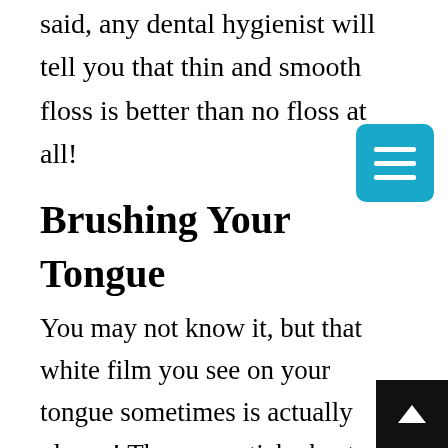said, any dental hygienist will tell you that thin and smooth floss is better than no floss at all!
Brushing Your Tongue
You may not know it, but that white film you see on your tongue sometimes is actually plaque! The same sticky bacteria-filled buildup that accumulates on your teeth can